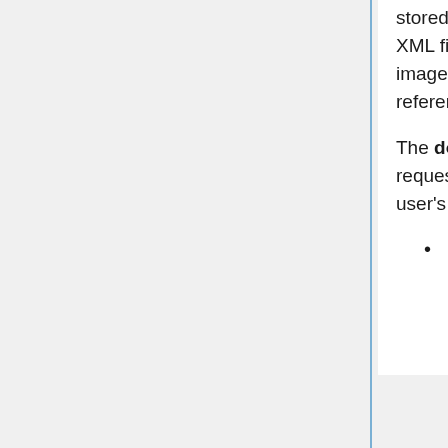stored in its own directory. The directory contains the MIRCdocument's XML file and any files that it references. The referenced files are typically images, but there is no restriction on the types of files that can be referenced.
The doGet method provides different responses depending on the requested resource, the supplied query parameters, and the requesting user's roles.
If the request calls the delete function, it deletes the MIRCdocument. (I know that this is not RESTful, but it grew up organically, and it might be nice to implement the rest of the RESTful methods in the server and then reflect that in all of TFS, but that's for